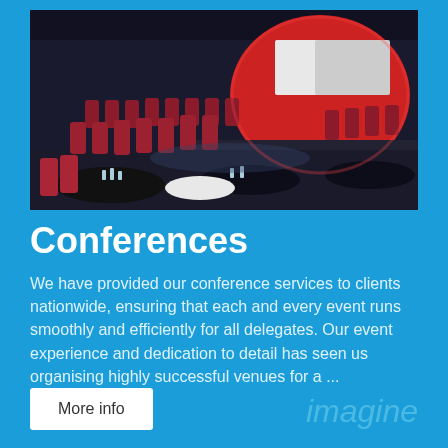[Figure (photo): Conference hall with rows of red banquet chairs arranged around round tables with black tablecloths, a large red illuminated circular backdrop on stage with screens]
Conferences
We have provided our conference services to clients nationwide, ensuring that each and every event runs smoothly and efficiently for all delegates. Our event experience and dedication to detail has seen us organising highly successful venues for a ...
More info
imagine